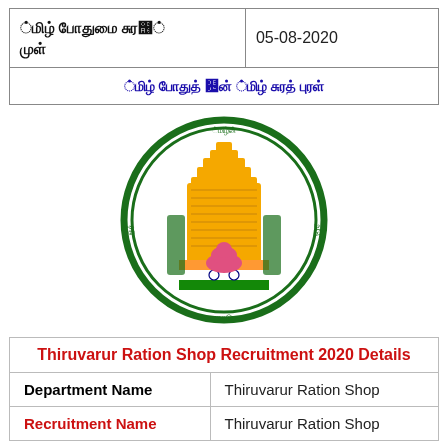| [Tamil text] | 05-08-2020 |
| [Tamil title link text] |  |
[Figure (logo): Tamil Nadu Government emblem with golden gopuram tower, lion capital, and Indian flag colors, surrounded by green circle with Tamil script]
| Department Name | Thiruvarur Ration Shop |
| --- | --- |
| Department Name | Thiruvarur Ration Shop |
| Recruitment Name | Thiruvarur Ration Shop |